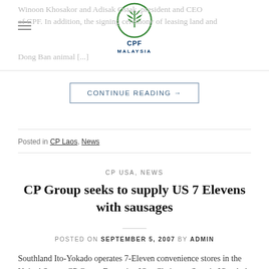Winoon Khosakor and Adisak Ostak, president and CEO of CPF. In addition, the signing ceremony of leasing land and Dong Ban animal [...]
CONTINUE READING →
Posted in CP Laos, News
CP USA, NEWS
CP Group seeks to supply US 7 Elevens with sausages
POSTED ON SEPTEMBER 5, 2007 BY ADMIN
Southland Ito-Yokado operates 7-Eleven convenience stores in the United States. CP Group Executive Vice Chairman Sarasin Viranhol said if the deal were concluded, the group